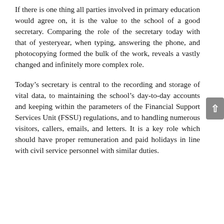If there is one thing all parties involved in primary education would agree on, it is the value to the school of a good secretary. Comparing the role of the secretary today with that of yesteryear, when typing, answering the phone, and photocopying formed the bulk of the work, reveals a vastly changed and infinitely more complex role.
Today's secretary is central to the recording and storage of vital data, to maintaining the school's day-to-day accounts and keeping within the parameters of the Financial Support Services Unit (FSSU) regulations, and to handling numerous visitors, callers, emails, and letters. It is a key role which should have proper remuneration and paid holidays in line with civil service personnel with similar duties.